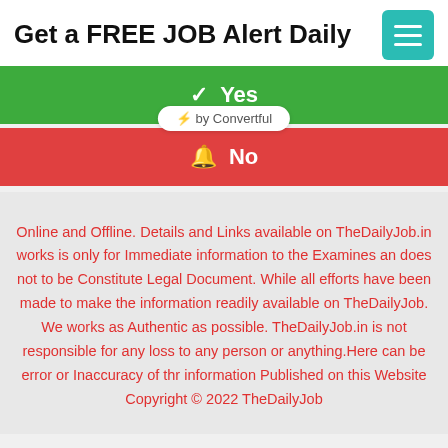Get a FREE JOB Alert Daily
✓ Yes
🔔 No
⚡ by Convertful
Online and Offline. Details and Links available on TheDailyJob.in works is only for Immediate information to the Examines an does not to be Constitute Legal Document. While all efforts have been made to make the information readily available on TheDailyJob. We works as Authentic as possible. TheDailyJob.in is not responsible for any loss to any person or anything.Here can be error or Inaccuracy of thr information Published on this Website Copyright © 2022 TheDailyJob